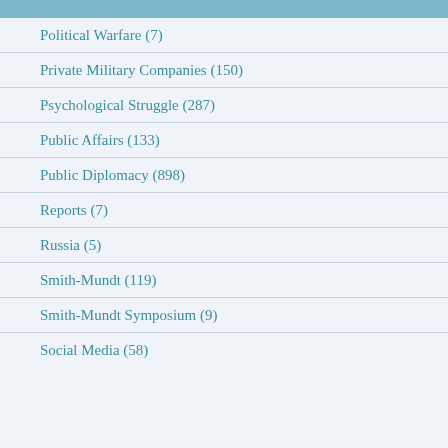Political Warfare (7)
Private Military Companies (150)
Psychological Struggle (287)
Public Affairs (133)
Public Diplomacy (898)
Reports (7)
Russia (5)
Smith-Mundt (119)
Smith-Mundt Symposium (9)
Social Media (58)